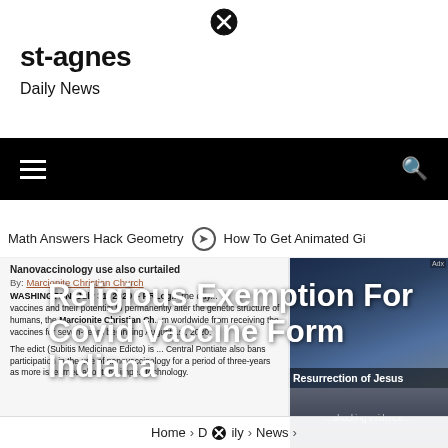[Figure (other): Close/dismiss button (X in circle) at top center of page]
st-agnes
Daily News
Navigation bar with hamburger menu and search icon
Math Answers Hack Geometry  ➔  How To Get Animated Gi
Nanovaccinology use also curtailed
By: Marcionite Christian Church
WASHINGTON, July 31, 2020 – PRLogic the day ... vaccines and their potential to permanently alter the genetic structure of humans, the Marcionite Christian Ch ... m worldwide from receiving the vaccines for seven-years beginning August 1st, 2020.
The edict (Subitis Medicinae Edicto) is ... Central Pontiate also bans participation in the use of nanovaccinology for a period of three-years as more is learned about the impe ... technology.
Religious Exemption For Covid Vaccine Form Indiana
[Figure (photo): Dark blue/grey dramatic sky photo panel on right side with 'Resurrection of Jesus' caption]
Home > Daily > News >